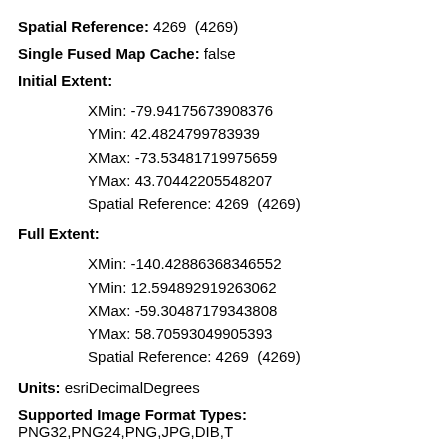Spatial Reference: 4269 (4269)
Single Fused Map Cache: false
Initial Extent:
XMin: -79.94175673908376
YMin: 42.4824799783939
XMax: -73.53481719975659
YMax: 43.70442205548207
Spatial Reference: 4269 (4269)
Full Extent:
XMin: -140.42886368346552
YMin: 12.594892919263062
XMax: -59.30487179343808
YMax: 58.70593049905393
Spatial Reference: 4269 (4269)
Units: esriDecimalDegrees
Supported Image Format Types: PNG32,PNG24,PNG,JPG,DIB,T
Document Info: